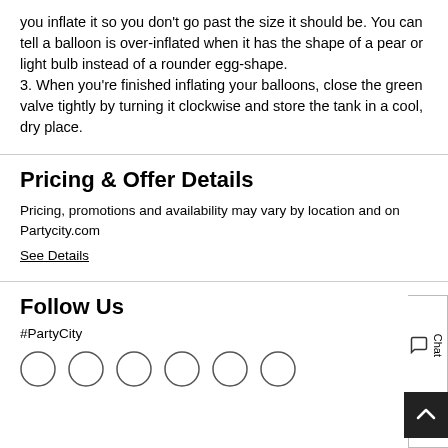you inflate it so you don't go past the size it should be. You can tell a balloon is over-inflated when it has the shape of a pear or light bulb instead of a rounder egg-shape.
3. When you're finished inflating your balloons, close the green valve tightly by turning it clockwise and store the tank in a cool, dry place.
Pricing & Offer Details
Pricing, promotions and availability may vary by location and on Partycity.com
See Details
Follow Us
#PartyCity
[Figure (other): Row of social media icon circles (partially visible at bottom)]